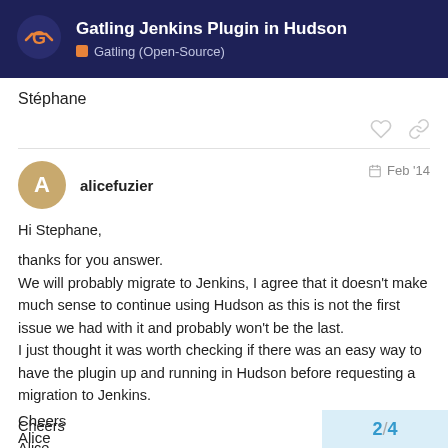Gatling Jenkins Plugin in Hudson
Gatling (Open-Source)
Stéphane
alicefuzier  Feb '14
Hi Stephane,

thanks for you answer.
We will probably migrate to Jenkins, I agree that it doesn't make much sense to continue using Hudson as this is not the first issue we had with it and probably won't be the last.
I just thought it was worth checking if there was an easy way to have the plugin up and running in Hudson before requesting a migration to Jenkins.

Cheers
Alice
2 / 4